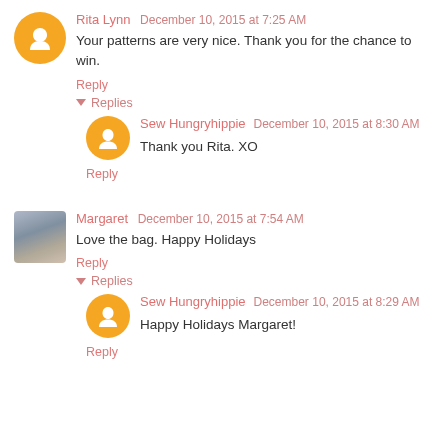Rita Lynn  December 10, 2015 at 7:25 AM
Your patterns are very nice. Thank you for the chance to win.
Reply
Replies
Sew Hungryhippie  December 10, 2015 at 8:30 AM
Thank you Rita. XO
Reply
Margaret  December 10, 2015 at 7:54 AM
Love the bag. Happy Holidays
Reply
Replies
Sew Hungryhippie  December 10, 2015 at 8:29 AM
Happy Holidays Margaret!
Reply